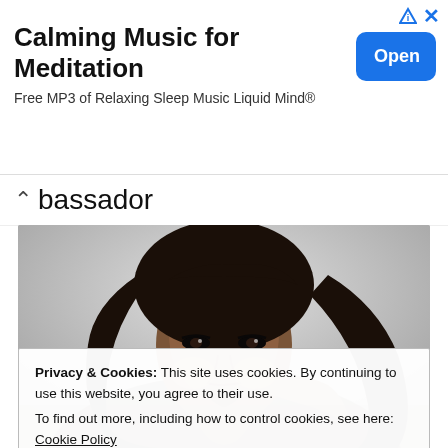[Figure (other): Advertisement banner for Calming Music for Meditation app with Open button]
Calming Music for Meditation
Free MP3 of Relaxing Sleep Music Liquid Mind®
bassador
[Figure (photo): Black and white portrait photo of a young Black woman with long hair, resting her chin on her hand, looking at the camera]
Privacy & Cookies: This site uses cookies. By continuing to use this website, you agree to their use.
To find out more, including how to control cookies, see here: Cookie Policy